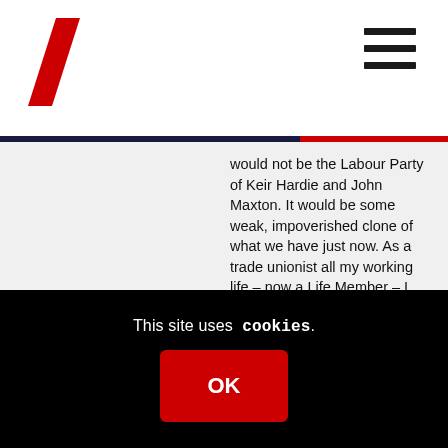Scottish Labour website header with logo and navigation menu
would not be the Labour Party of Keir Hardie and John Maxton. It would be some weak, impoverished clone of what we have just now. As a trade unionist all my working life – now a Life Member – I know from personal experience that working people's strength lies in numbers. If you cut Scottish trades unionists away from the strength of the entire UK movement, you will weaken us terribly. The employers here would love you for that.
This site uses cookies.
OK